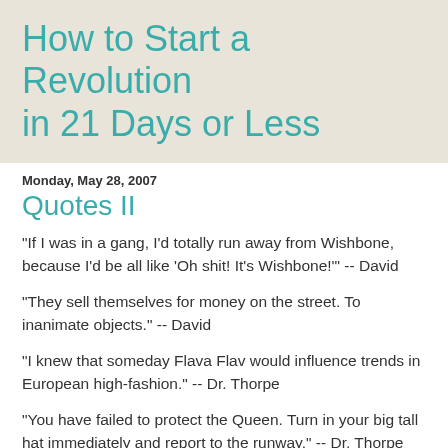How to Start a Revolution in 21 Days or Less
Monday, May 28, 2007
Quotes II
"If I was in a gang, I'd totally run away from Wishbone, because I'd be all like 'Oh shit! It's Wishbone!'" -- David
"They sell themselves for money on the street. To inanimate objects." -- David
"I knew that someday Flava Flav would influence trends in European high-fashion." -- Dr. Thorpe
"You have failed to protect the Queen. Turn in your big tall hat immediately and report to the runway." -- Dr. Thorpe